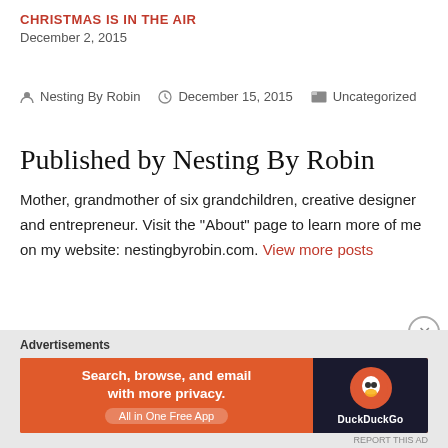CHRISTMAS IS IN THE AIR
December 2, 2015
Nesting By Robin  |  December 15, 2015  |  Uncategorized
Published by Nesting By Robin
Mother, grandmother of six grandchildren, creative designer and entrepreneur. Visit the "About" page to learn more of me on my website: nestingbyrobin.com. View more posts
[Figure (screenshot): DuckDuckGo advertisement banner: orange background with text 'Search, browse, and email with more privacy. All in One Free App' and DuckDuckGo logo on dark background]
Advertisements
REPORT THIS AD